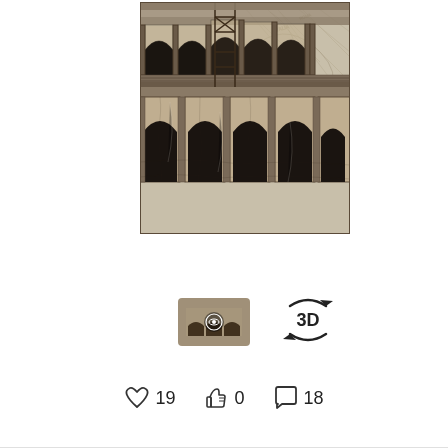[Figure (illustration): Black and white sketch/etching of the Colosseum in Rome overlaid on an antique map background. The drawing shows detailed architectural elements including arched windows, columns, and stonework across two levels of the amphitheater facade.]
[Figure (thumbnail): Small thumbnail image of the Colosseum artwork with a play/view icon overlay]
[Figure (other): 3D view button icon with circular arrows around '3D' text]
♡19  👍0  💬18